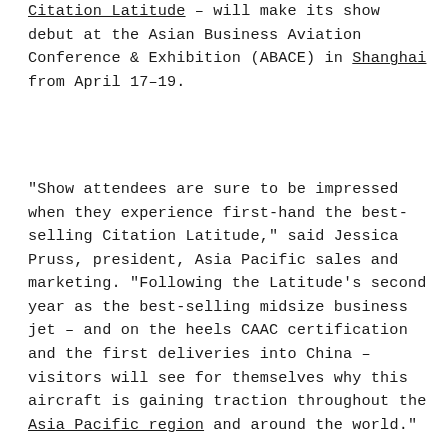Citation Latitude – will make its show debut at the Asian Business Aviation Conference & Exhibition (ABACE) in Shanghai from April 17–19.
“Show attendees are sure to be impressed when they experience first-hand the best-selling Citation Latitude,” said Jessica Pruss, president, Asia Pacific sales and marketing. “Following the Latitude’s second year as the best-selling midsize business jet – and on the heels CAAC certification and the first deliveries into China – visitors will see for themselves why this aircraft is gaining traction throughout the Asia Pacific region and around the world.”